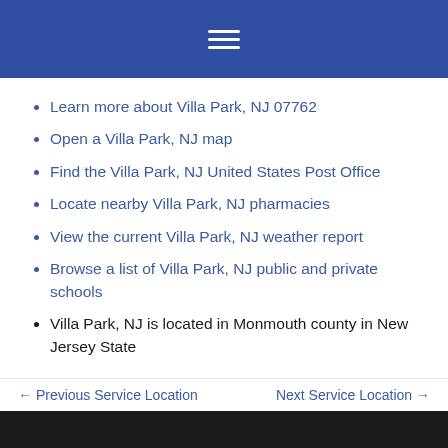Learn more about Villa Park, NJ 07762
Open a Villa Park, NJ map
Find the Villa Park, NJ United States Post Office
Locate nearby Villa Park, NJ pharmacies
View the current Villa Park, NJ weather report
Browse a list of Villa Park, NJ public and private schools
Villa Park, NJ is located in Monmouth county in New Jersey State
← Previous Service Location   Next Service Location →
Services We Offer